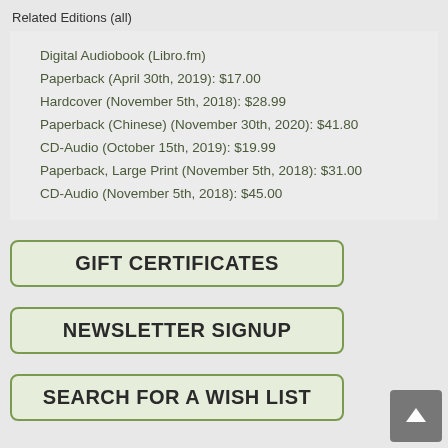Related Editions (all)
Digital Audiobook (Libro.fm)
Paperback (April 30th, 2019): $17.00
Hardcover (November 5th, 2018): $28.99
Paperback (Chinese) (November 30th, 2020): $41.80
CD-Audio (October 15th, 2019): $19.99
Paperback, Large Print (November 5th, 2018): $31.00
CD-Audio (November 5th, 2018): $45.00
[Figure (other): GIFT CERTIFICATES button with green border]
[Figure (other): NEWSLETTER SIGNUP button with green border]
[Figure (other): SEARCH FOR A WISH LIST button with green border]
[Figure (other): Scroll to top arrow button in grey]